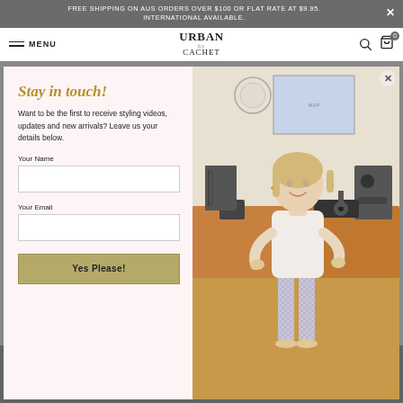FREE SHIPPING ON AUS ORDERS OVER $100 OR FLAT RATE AT $9.95. INTERNATIONAL AVAILABLE.
MENU | URBAN CACHET | 0
Stay in touch!
Want to be the first to receive styling videos, updates and new arrivals? Leave us your details below.
Your Name
Your Email
Yes Please!
[Figure (photo): Woman in white top and patterned pants standing in a room with wooden furniture, speakers, and a map on the wall]
That's why they have designed these pillowcases to fit the pillow comfortably with a zipper to secure the pillow and double sided use.